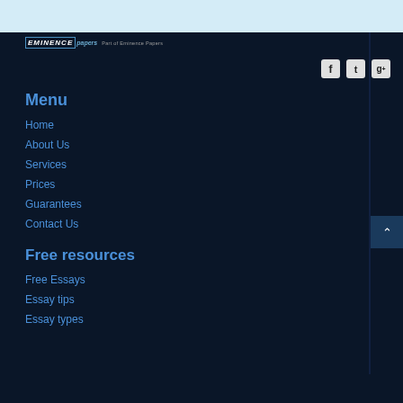[Figure (logo): Eminence Papers logo with text 'Part of Eminence Papers']
[Figure (other): Social media icons: Facebook, Twitter, Google+]
Menu
Home
About Us
Services
Prices
Guarantees
Contact Us
Free resources
Free Essays
Essay tips
Essay types